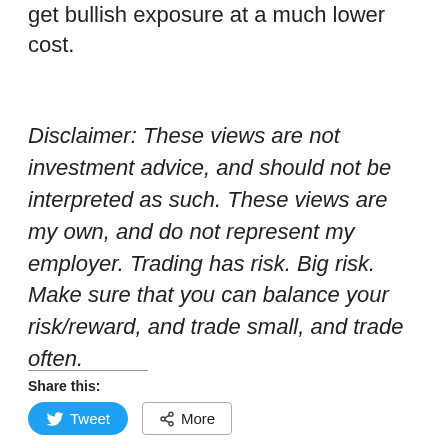get bullish exposure at a much lower cost.
Disclaimer: These views are not investment advice, and should not be interpreted as such. These views are my own, and do not represent my employer. Trading has risk. Big risk. Make sure that you can balance your risk/reward, and trade small, and trade often.
Share this:
[Figure (other): Tweet and More share buttons]